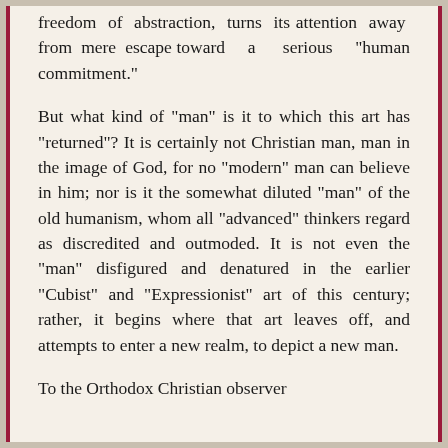freedom of abstraction, turns its attention away from mere escape toward a serious "human commitment."
But what kind of "man" is it to which this art has "returned"? It is certainly not Christian man, man in the image of God, for no "modern" man can believe in him; nor is it the somewhat diluted "man" of the old humanism, whom all "advanced" thinkers regard as discredited and outmoded. It is not even the "man" disfigured and denatured in the earlier "Cubist" and "Expressionist" art of this century; rather, it begins where that art leaves off, and attempts to enter a new realm, to depict a new man.
To the Orthodox Christian observer